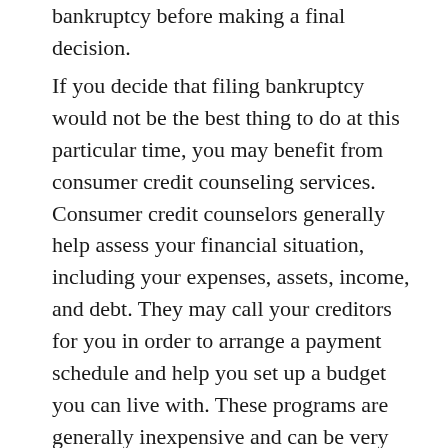bankruptcy before making a final decision.
If you decide that filing bankruptcy would not be the best thing to do at this particular time, you may benefit from consumer credit counseling services. Consumer credit counselors generally help assess your financial situation, including your expenses, assets, income, and debt. They may call your creditors for you in order to arrange a payment schedule and help you set up a budget you can live with. These programs are generally inexpensive and can be very helpful. In fact, credit counseling is now a prerequisite to filing for bankruptcy. An individual must meet with a credit counselor in the six months prior to applying for